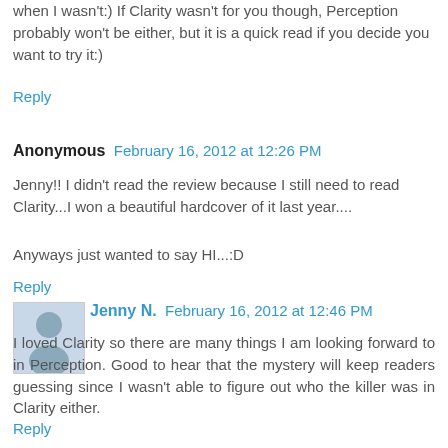when I wasn't:) If Clarity wasn't for you though, Perception probably won't be either, but it is a quick read if you decide you want to try it:)
Reply
Anonymous  February 16, 2012 at 12:26 PM
Jenny!! I didn't read the review because I still need to read Clarity...I won a beautiful hardcover of it last year....
Anyways just wanted to say HI...:D
Reply
Jenny N.  February 16, 2012 at 12:46 PM
I loved Clarity so there are many things I am looking forward to in Perception. Good to hear that the mystery will keep readers guessing since I wasn't able to figure out who the killer was in Clarity either.
Reply